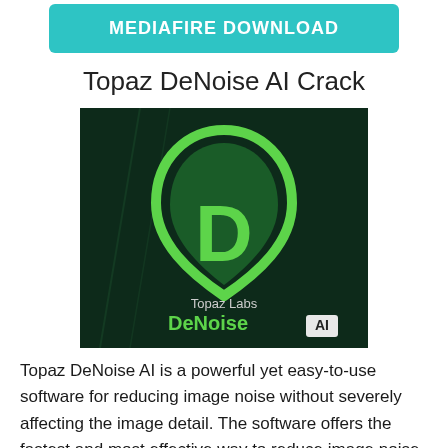[Figure (other): Teal/cyan rounded rectangle download button with white bold uppercase text reading 'MEDIAFIRE DOWNLOAD']
Topaz DeNoise AI Crack
[Figure (logo): Topaz Labs DeNoise AI software logo — dark green background with a green shield/pick shape containing a large letter D, and text 'Topaz Labs DeNoise AI' at the bottom]
Topaz DeNoise AI is a powerful yet easy-to-use software for reducing image noise without severely affecting the image detail. The software offers the fastest and most effective way to reduce image noise. It will be easy to reduce image noise without adversely affecting the output quality, whether it's an